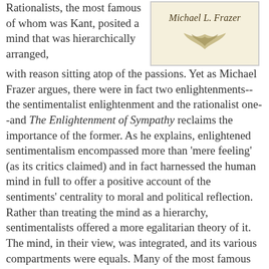[Figure (illustration): Book cover image for 'The Enlightenment of Sympathy' by Michael L. Frazer, cream/tan background with decorative botanical ornament]
Rationalists, the most famous of whom was Kant, posited a mind that was hierarchically arranged, with reason sitting atop of the passions. Yet as Michael Frazer argues, there were in fact two enlightenments--the sentimentalist enlightenment and the rationalist one--and The Enlightenment of Sympathy reclaims the importance of the former. As he explains, enlightened sentimentalism encompassed more than 'mere feeling' (as its critics claimed) and in fact harnessed the human mind in full to offer a positive account of the sentiments' centrality to moral and political reflection. Rather than treating the mind as a hierarchy, sentimentalists offered a more egalitarian theory of it. The mind, in their view, was integrated, and its various compartments were equals. Many of the most famous Enlightenment thinkers can rightly be called sentimentalists--Hume, Smith, and Herder, to name a few--yet the rationalist vision of politics